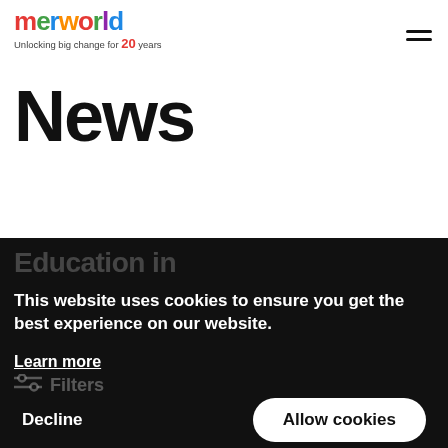merworld – Unlocking big change for 20 years
News
Education in
This website uses cookies to ensure you get the best experience on our website.
Learn more
Filters
Decline
Allow cookies